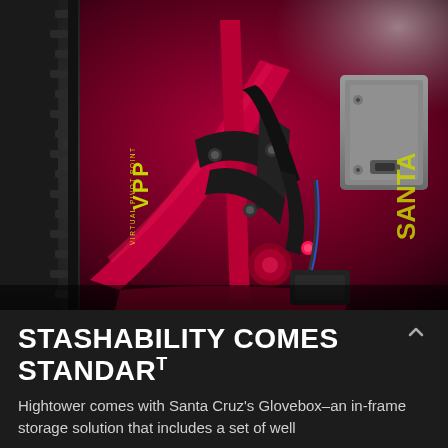[Figure (photo): Close-up photo of a Santa Cruz Hightower mountain bike frame in dark red/crimson color, showing the VPP (Virtual Pivot Point) linkage suspension system, with yellow-green VPP text label visible on the frame. A gray rectangular Glovebox storage compartment is visible on the right side of the frame. The left side shows a black knobby tire. The background is gray/white studio lighting.]
STASHABILITY COMES STANDARD
Hightower comes with Santa Cruz's Glovebox–an in-frame storage solution that includes a set of well